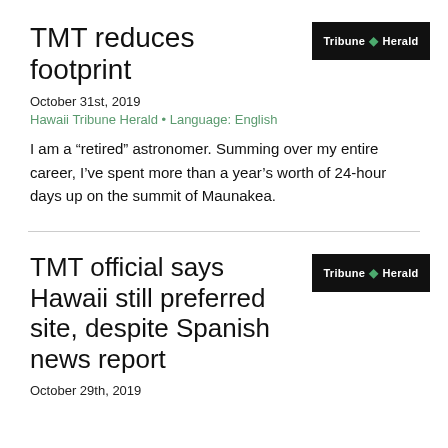TMT reduces footprint
[Figure (logo): Tribune Herald logo badge, black background, white text with green diamond icon]
October 31st, 2019
Hawaii Tribune Herald • Language: English
I am a “retired” astronomer. Summing over my entire career, I’ve spent more than a year’s worth of 24-hour days up on the summit of Maunakea.
TMT official says Hawaii still preferred site, despite Spanish news report
[Figure (logo): Tribune Herald logo badge, black background, white text with green diamond icon]
October 29th, 2019